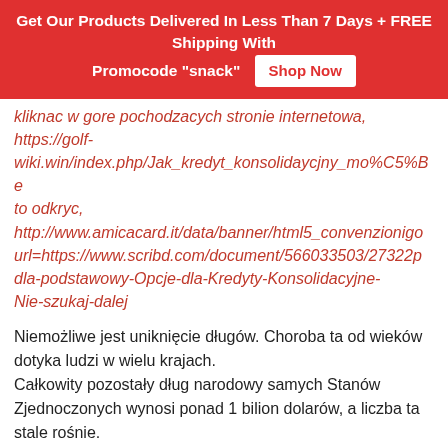Get Our Products Delivered In Less Than 7 Days + FREE Shipping With Promocode "snack"  Shop Now
kliknac w gore pochodzacych stronie internetowa, https://golf-wiki.win/index.php/Jak_kredyt_konsolidaycjny_mo%C5%Be to odkryc, http://www.amicacard.it/data/banner/html5_convenzionigo url=https://www.scribd.com/document/566033503/27322p dla-podstawowy-Opcje-dla-Kredyty-Konsolidacyjne-Nie-szukaj-dalej
Niemożliwe jest uniknięcie długów. Choroba ta od wieków dotyka ludzi w wielu krajach. Całkowity pozostały dług narodowy samych Stanów Zjednoczonych wynosi ponad 1 bilion dolarów, a liczba ta stale rośnie. Istnieje wiele powodów, dla których ktoś staje się zadłużony, ale najczęstszym jest to, że wydał więcej niż zarobił. Możesz również mieć dług, który wynika z nieoczekiwanych wydatków, takich jak